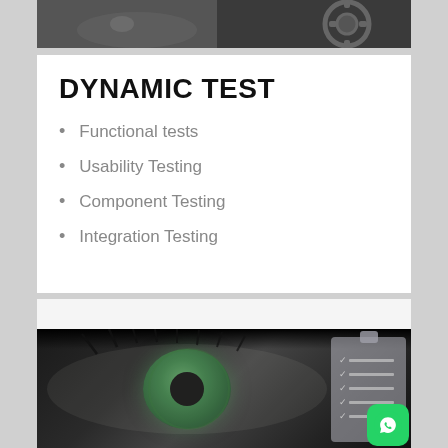[Figure (photo): Partial view of mechanical/engineering equipment, grayscale photo, top strip]
DYNAMIC TEST
Functional tests
Usability Testing
Component Testing
Integration Testing
[Figure (photo): Close-up of a human eye with green iris in grayscale/color mix, with clipboard checklist overlay and WhatsApp icon in corner]